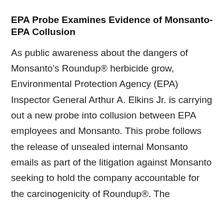EPA Probe Examines Evidence of Monsanto-EPA Collusion
As public awareness about the dangers of Monsanto's Roundup® herbicide grow, Environmental Protection Agency (EPA) Inspector General Arthur A. Elkins Jr. is carrying out a new probe into collusion between EPA employees and Monsanto. This probe follows the release of unsealed internal Monsanto emails as part of the litigation against Monsanto seeking to hold the company accountable for the carcinogenicity of Roundup®. The